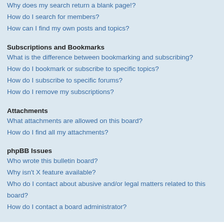Why does my search return a blank page!?
How do I search for members?
How can I find my own posts and topics?
Subscriptions and Bookmarks
What is the difference between bookmarking and subscribing?
How do I bookmark or subscribe to specific topics?
How do I subscribe to specific forums?
How do I remove my subscriptions?
Attachments
What attachments are allowed on this board?
How do I find all my attachments?
phpBB Issues
Who wrote this bulletin board?
Why isn't X feature available?
Who do I contact about abusive and/or legal matters related to this board?
How do I contact a board administrator?
Login and Registration Issues
Why do I need to register?
You may not have to, it is up to the administrator of the board as to whether you need to register in order to post messages. However; registration will give you access to additional features not available to guest users such as definable avatar